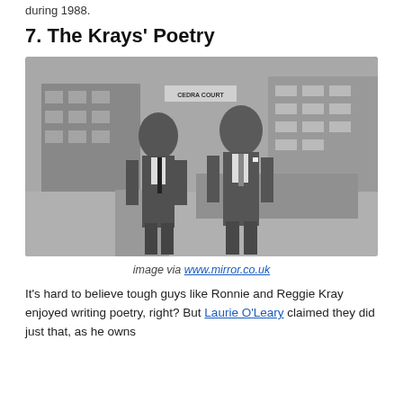during 1988.
7. The Krays' Poetry
[Figure (photo): Black and white photograph of two men in suits walking side by side outdoors near apartment buildings. A sign reading 'CEDRA COURT' is visible in the background.]
image via www.mirror.co.uk
It's hard to believe tough guys like Ronnie and Reggie Kray enjoyed writing poetry, right? But Laurie O'Leary claimed they did just that, as he owns